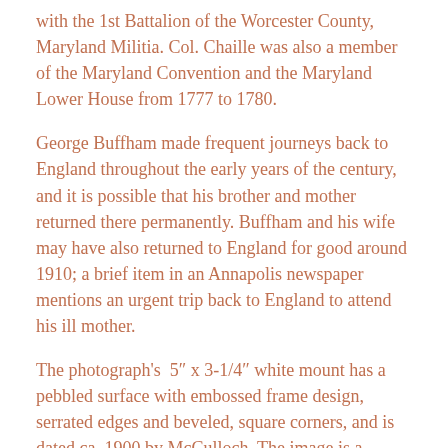with the 1st Battalion of the Worcester County, Maryland Militia. Col. Chaille was also a member of the Maryland Convention and the Maryland Lower House from 1777 to 1780.
George Buffham made frequent journeys back to England throughout the early years of the century, and it is possible that his brother and mother returned there permanently. Buffham and his wife may have also returned to England for good around 1910; a brief item in an Annapolis newspaper mentions an urgent trip back to England to attend his ill mother.
The photograph's  5″ x 3-1/4″ white mount has a pebbled surface with embossed frame design, serrated edges and beveled, square corners, and is dated ca. 1900 by McCulloch. The image is a simple, vignetted bust portrait,